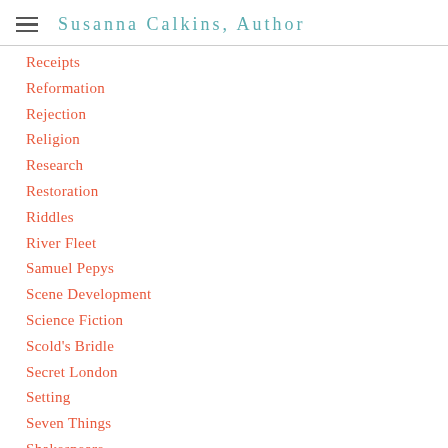Susanna Calkins, Author
Receipts
Reformation
Rejection
Religion
Research
Restoration
Riddles
River Fleet
Samuel Pepys
Scene Development
Science Fiction
Scold's Bridle
Secret London
Setting
Seven Things
Shakespeare
Short Story
Sign Of The Gull…